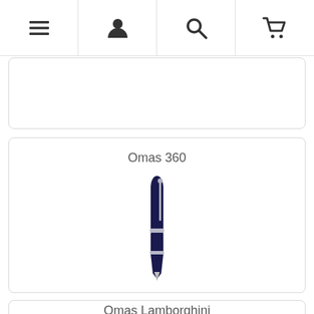Navigation bar with menu, user, search, and cart icons
Omas 360
[Figure (photo): A dark navy blue Omas 360 fountain pen shown vertically, with silver trim bands near the cap and nib section.]
Omas Lamborghini